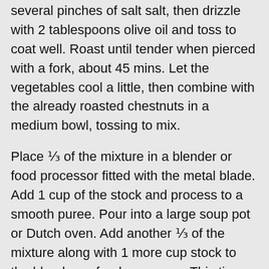several pinches of salt salt, then drizzle with 2 tablespoons olive oil and toss to coat well. Roast until tender when pierced with a fork, about 45 mins. Let the vegetables cool a little, then combine with the already roasted chestnuts in a medium bowl, tossing to mix.
Place ⅓ of the mixture in a blender or food processor fitted with the metal blade. Add 1 cup of the stock and process to a smooth puree. Pour into a large soup pot or Dutch oven. Add another ⅓ of the mixture along with 1 more cup stock to the blender or food processor. This time pulse the mixture until a course, almost lumpy texture is achieved, you be the judge oh how much texture you'd like. Add this to the soup pot and repeat with the remaining carrot & chestnut mixture and 1 more cup stock.  Then add this to the stock pot as well as the remaining cup stock. Bring to a boil over medium-high heat, then reduce the heat to maintain a gentle simmer for about 20 minutes to allow the flavors to meld.